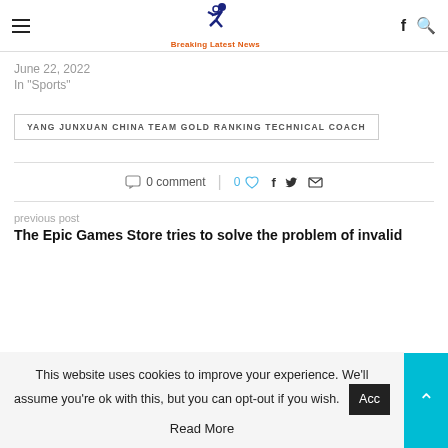Breaking Latest News
June 22, 2022
In "Sports"
YANG JUNXUAN CHINA TEAM GOLD RANKING TECHNICAL COACH
0 comment | 0
previous post
The Epic Games Store tries to solve the problem of invalid
This website uses cookies to improve your experience. We'll assume you're ok with this, but you can opt-out if you wish.
Read More